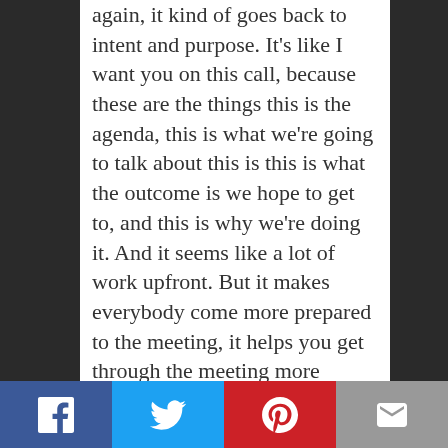again, it kind of goes back to intent and purpose. It's like I want you on this call, because these are the things this is the agenda, this is what we're going to talk about this is this is what the outcome is we hope to get to, and this is why we're doing it. And it seems like a lot of work upfront. But it makes everybody come more prepared to the meeting, it helps you get through the meeting more quickly. And then everybody kind of knows what's what's going on. I'm known for having like, you know, I'll have a 37 minute meeting. It's like I don't, I don't need an hour, I really only need like 37 minutes of your time. And we can get through this. And you can you can, you know, belt it out pretty fast. And so I just think it's important to not have meetings just to have meetings, which
[Figure (infographic): Social media share bar at bottom with Facebook, Twitter, Pinterest, and Email buttons]